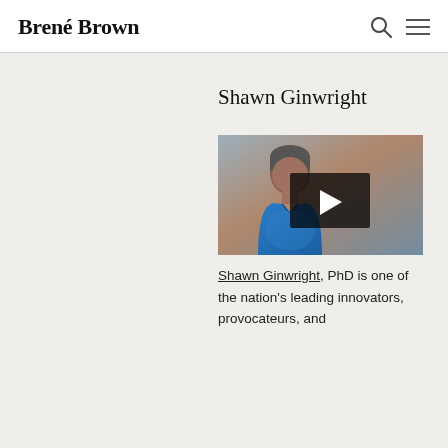Brené Brown
Shawn Ginwright
[Figure (photo): Video thumbnail showing Shawn Ginwright, a man wearing a blue shirt, with a play button overlay in the center of the image.]
Shawn Ginwright, PhD is one of the nation's leading innovators, provocateurs, and